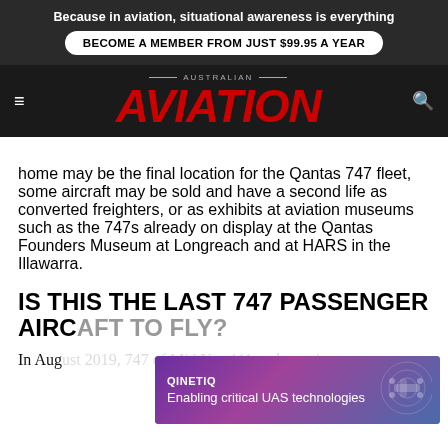Because in aviation, situational awareness is everything
BECOME A MEMBER FROM JUST $99.95 A YEAR
[Figure (logo): Australian Aviation magazine logo with red italic AVIATION text on dark background with hamburger menu and search icons]
home may be the final location for the Qantas 747 fleet, some aircraft may be sold and have a second life as converted freighters, or as exhibits at aviation museums such as the 747s already on display at the Qantas Founders Museum at Longreach and at HARS in the Illawarra.
IS THIS THE LAST 747 PASSENGER AIRC...
In August 2019, 747s of MiANos 111 and sporting
[Figure (screenshot): QinetiQ advertisement overlay: Enabling critical UAS technologies, purple gradient background with drone imagery]